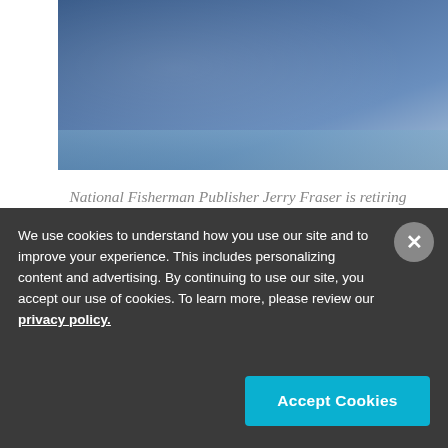[Figure (photo): Photo of a person wearing a blue National Fisherman jacket, with a waterfront/harbor visible in the background]
National Fisherman Publisher Jerry Fraser is retiring after more than 20 years with the publication.
National Fisherman Publisher Jerry Fraser announces
We use cookies to understand how you use our site and to improve your experience. This includes personalizing content and advertising. By continuing to use our site, you accept our use of cookies. To learn more, please review our privacy policy.
Accept Cookies